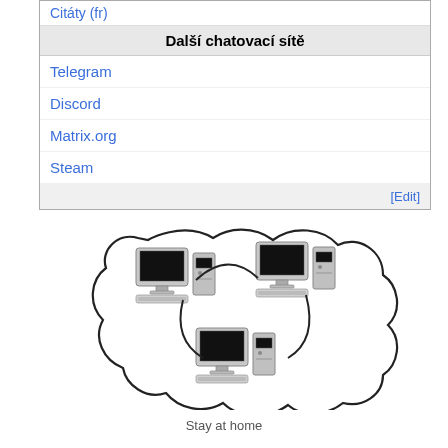Citáty (fr)
| Další chatovací sítě |
| --- |
| Telegram |
| Discord |
| Matrix.org |
| Steam |
| [Edit] |
[Figure (illustration): Network diagram showing three desktop computers arranged in a triangle pattern, connected by curved lines forming a cloud/network shape]
Stay at home